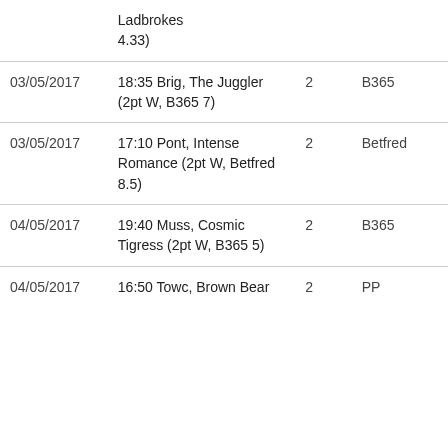| Date | Race/Horse | Pts | Bookmaker |
| --- | --- | --- | --- |
|  | Ladbrokes 4.33) |  |  |
| 03/05/2017 | 18:35 Brig, The Juggler (2pt W, B365 7) | 2 | B365 |
| 03/05/2017 | 17:10 Pont, Intense Romance (2pt W, Betfred 8.5) | 2 | Betfred |
| 04/05/2017 | 19:40 Muss, Cosmic Tigress (2pt W, B365 5) | 2 | B365 |
| 04/05/2017 | 16:50 Towc, Brown Bear | 2 | PP |